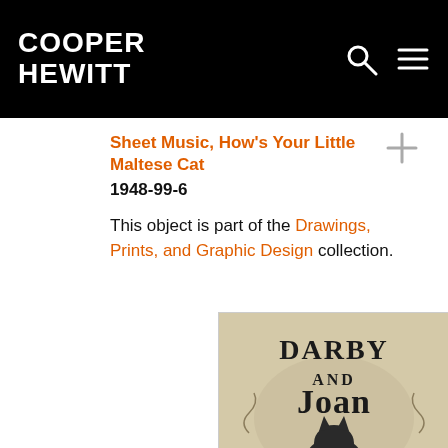COOPER HEWITT
Sheet Music, How's Your Little Maltese Cat
1948-99-6
This object is part of the Drawings, Prints, and Graphic Design collection.
[Figure (photo): Sheet music cover showing 'Darby and Joan' text in large decorative serif typography with a cat silhouette below on a tan/sepia background]